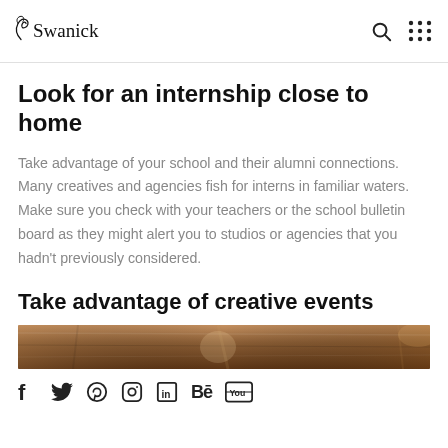Swanick
Look for an internship close to home
Take advantage of your school and their alumni connections. Many creatives and agencies fish for interns in familiar waters. Make sure you check with your teachers or the school bulletin board as they might alert you to studios or agencies that you hadn't previously considered.
Take advantage of creative events
[Figure (photo): Brown wooden surface / table top image strip]
Social media icons: Facebook, Twitter, Pinterest, Instagram, LinkedIn, Behance, YouTube